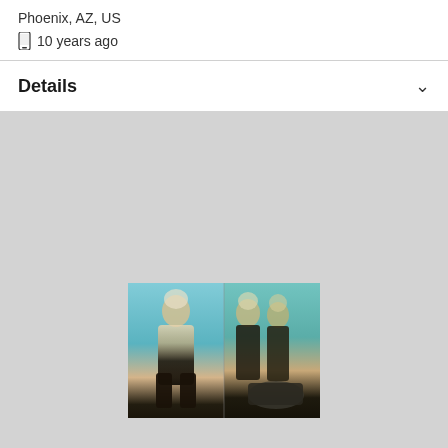Phoenix, AZ, US
📱 10 years ago
Details
[Figure (photo): Two side-by-side fashion photos of a blonde woman in a black strapless outfit, posed outdoors against sky and car backgrounds with warm vintage tones.]